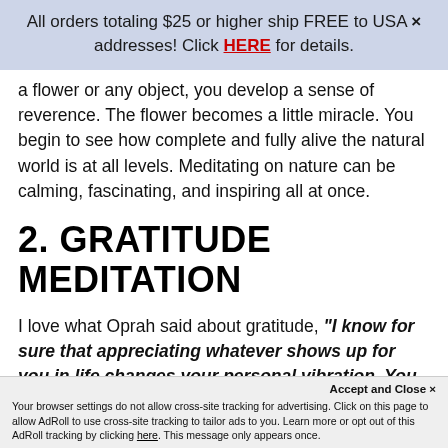All orders totaling $25 or higher ship FREE to USA × addresses! Click HERE for details.
a flower or any object, you develop a sense of reverence. The flower becomes a little miracle. You begin to see how complete and fully alive the natural world is at all levels. Meditating on nature can be calming, fascinating, and inspiring all at once.
2. GRATITUDE MEDITATION
I love what Oprah said about gratitude, "I know for sure that appreciating whatever shows up for you in life changes your personal vibration. You radiate and
generate more goodness for yourself when
Accept and Close ×
Your browser settings do not allow cross-site tracking for advertising. Click on this page to allow AdRoll to use cross-site tracking to tailor ads to you. Learn more or opt out of this AdRoll tracking by clicking here. This message only appears once.